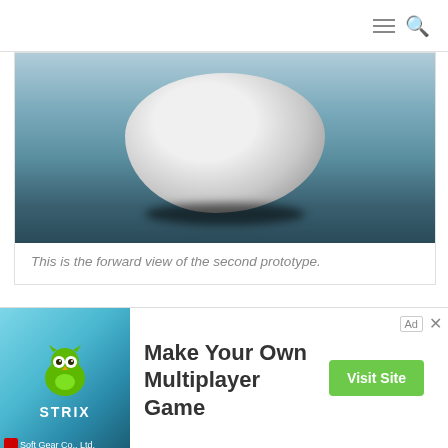Navigation bar with hamburger menu and search icon
[Figure (photo): Forward view of a white egg-shaped pod prototype on a blue-grey surface, with shadow beneath.]
This is the forward view of the second prototype.
After I made the second pod, I knew immediately what changes I wanted to make and how I wanted to proceed.  I put this one aside, unfinished, and moved straight on to the third.  I chose to make the video around this one so it actually took a couple of days to
cy & Cookies: This site uses cookies. By continuing to use this
ite, you agree to their use.
[Figure (infographic): Advertisement banner for Strix 'Make Your Own Multiplayer Game' with owl logo, Visit Site button, and Soft Gear Co., Ltd. attribution.]